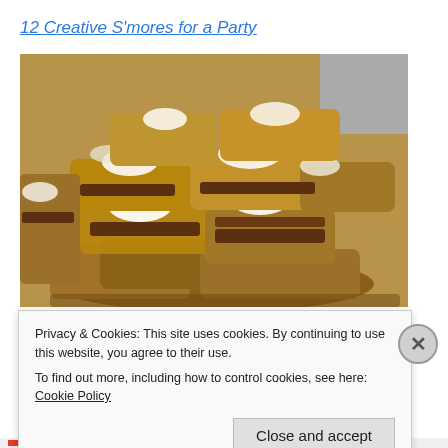12 Creative S'mores for a Party
[Figure (photo): A pile of s'mores bars made with graham cracker-style cookie base, chocolate layers, and toasted marshmallow on top, stacked together]
Privacy & Cookies: This site uses cookies. By continuing to use this website, you agree to their use.
To find out more, including how to control cookies, see here: Cookie Policy